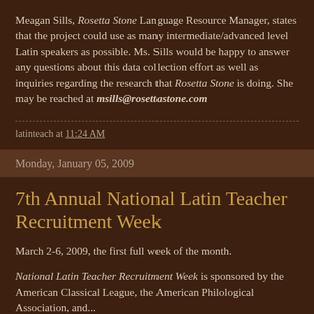Meagan Sills, Rosetta Stone Language Resource Manager, states that the project could use as many intermediate/advanced level Latin speakers as possible. Ms. Sills would be happy to answer any questions about this data collection effort as well as inquiries regarding the research that Rosetta Stone is doing. She may be reached at msills@rosettastone.com
latinteach at 11:24 AM
Monday, January 05, 2009
7th Annual National Latin Teacher Recruitment Week
March 2-6, 2009, the first full week of the month.
National Latin Teacher Recruitment Week is sponsored by the American Classical League, the American Philological Association, and...